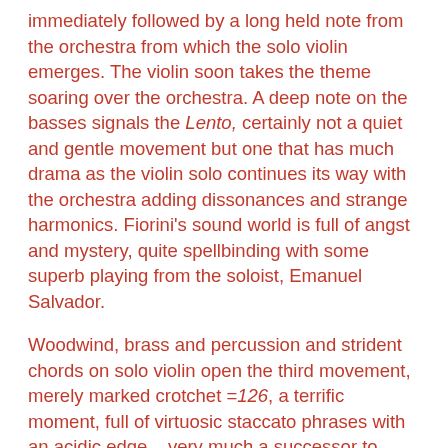immediately followed by a long held note from the orchestra from which the solo violin emerges. The violin soon takes the theme soaring over the orchestra. A deep note on the basses signals the Lento, certainly not a quiet and gentle movement but one that has much drama as the violin solo continues its way with the orchestra adding dissonances and strange harmonics. Fiorini's sound world is full of angst and mystery, quite spellbinding with some superb playing from the soloist, Emanuel Salvador.
Woodwind, brass and percussion and strident chords on solo violin open the third movement, merely marked crotchet =126, a terrific moment, full of virtuosic staccato phrases with an acidic edge – very much a successor to some of the great violin concertos of the 20th century from such figures as Bartok and Shostakovich. Eventually the music slows on a high held note as the main theme tries to re-enter but fails, with the music slowly developing with percussion and timpani. The music again slows before a fragmented section where the soloist plays a short little staccato motif against little outbursts from lower strings, woodwind and brass. A section for pizzicato solo violin leads the music on, until a